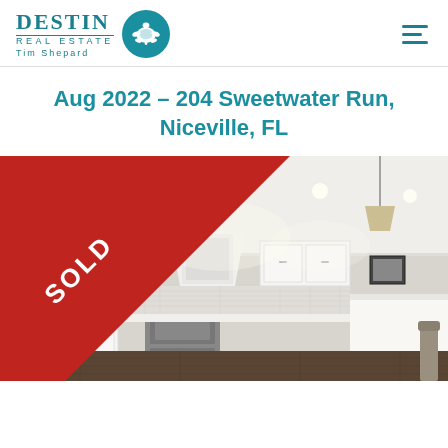[Figure (logo): Destin Real Estate Tim Shepard logo with teal text and turtle circle icon, plus hamburger menu icon on right]
Aug 2022 – 204 Sweetwater Run, Niceville, FL
[Figure (photo): Interior kitchen photo of a home at 204 Sweetwater Run, Niceville FL showing white cabinets, stainless steel appliances, white range hood, recessed lighting, pendant light, and kitchen island. A red diagonal SOLD banner is overlaid in the top-left corner.]